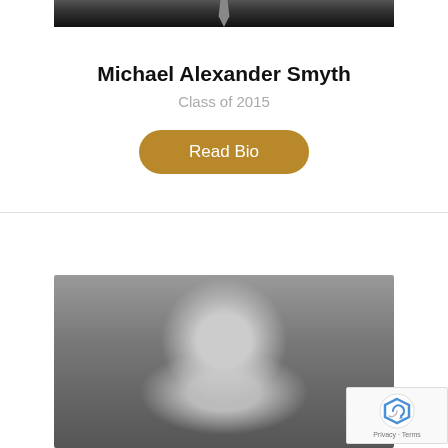[Figure (photo): Cropped black and white portrait photo of Michael Alexander Smyth, showing suit jacket and tie from shoulders up, partially cut off at top]
Michael Alexander Smyth
Class of 2015
Read Bio
[Figure (photo): Black and white portrait photo of a smiling woman with curly hair and hoop earrings, photographed outdoors with trees and brick building in background]
[Figure (other): reCAPTCHA badge showing Privacy and Terms]